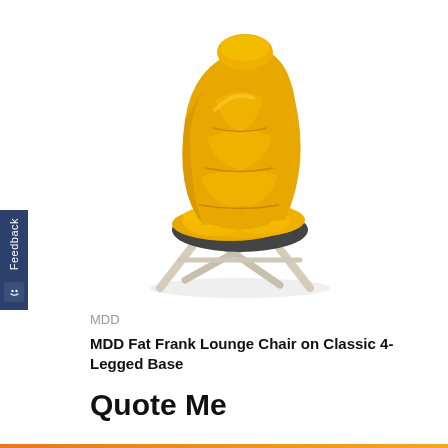[Figure (photo): Yellow MDD Fat Frank Lounge Chair with tufted back cushioning and light-colored 4-legged crossed base]
MDD
MDD Fat Frank Lounge Chair on Classic 4-Legged Base
Quote Me